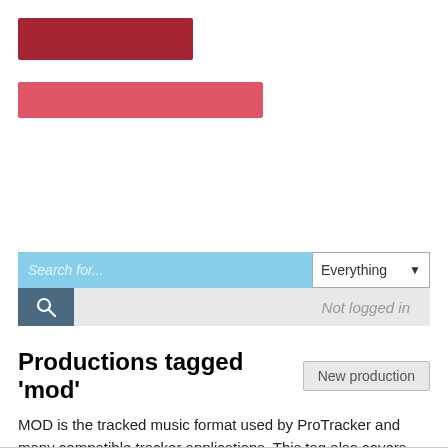[Figure (logo): Dark red rectangular logo bar]
[Figure (illustration): Lighter red/pink navigation bar]
[Figure (screenshot): Search bar with light blue input field showing 'Search for...' placeholder, 'Everything' dropdown, search button with magnifier icon, and 'Not logged in' grey area]
Productions tagged 'mod'
New production
MOD is the tracked music format used by ProTracker and many compatible tracker applications. This tag also covers variants of the MOD format with identical file structure but more than four channels.
Order by: Release date | Title